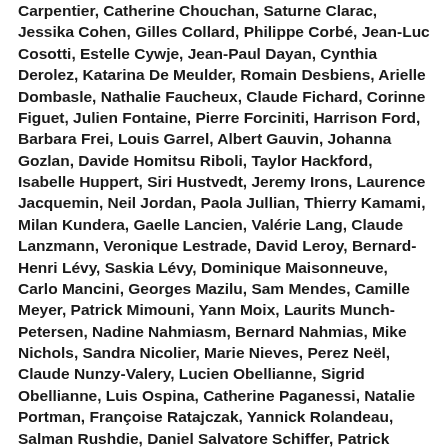Carpentier, Catherine Chouchan, Saturne Clarac, Jessika Cohen, Gilles Collard, Philippe Corbé, Jean-Luc Cosotti, Estelle Cywje, Jean-Paul Dayan, Cynthia Derolez, Katarina De Meulder, Romain Desbiens, Arielle Dombasle, Nathalie Faucheux, Claude Fichard, Corinne Figuet, Julien Fontaine, Pierre Forciniti, Harrison Ford, Barbara Frei, Louis Garrel, Albert Gauvin, Johanna Gozlan, Davide Homitsu Riboli, Taylor Hackford, Isabelle Huppert, Siri Hustvedt, Jeremy Irons, Laurence Jacquemin, Neil Jordan, Paola Jullian, Thierry Kamami, Milan Kundera, Gaelle Lancien, Valérie Lang, Claude Lanzmann, Veronique Lestrade, David Leroy, Bernard-Henri Lévy, Saskia Lévy, Dominique Maisonneuve, Carlo Mancini, Georges Mazilu, Sam Mendes, Camille Meyer, Patrick Mimouni, Yann Moix, Laurits Munch-Petersen, Nadine Nahmiasm, Bernard Nahmias, Mike Nichols, Sandra Nicolier, Marie Nieves, Perez Neël, Claude Nunzy-Valery, Lucien Obellianne, Sigrid Obellianne, Luis Ospina, Catherine Paganessi, Natalie Portman, Françoise Ratajczak, Yannick Rolandeau, Salman Rushdie, Daniel Salvatore Schiffer, Patrick Samama, Carine Sarna, Ysabelle Saura Del Pan, Sophie Schmit-Ellouet, Kristin Scott Thomas, William Shawn...